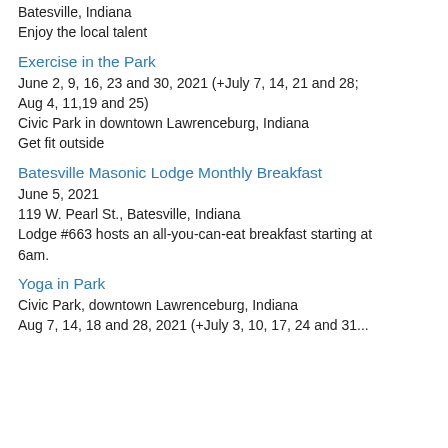Batesville, Indiana
Enjoy the local talent
Exercise in the Park
June 2, 9, 16, 23 and 30, 2021 (+July 7, 14, 21 and 28; Aug 4, 11,19 and 25)
Civic Park in downtown Lawrenceburg, Indiana
Get fit outside
Batesville Masonic Lodge Monthly Breakfast
June 5, 2021
119 W. Pearl St., Batesville, Indiana
Lodge #663 hosts an all-you-can-eat breakfast starting at 6am.
Yoga in Park
Civic Park, downtown Lawrenceburg, Indiana
Aug 7, 14, 18 and 28, 2021 (+July 3, 10, 17, 24 and 31...